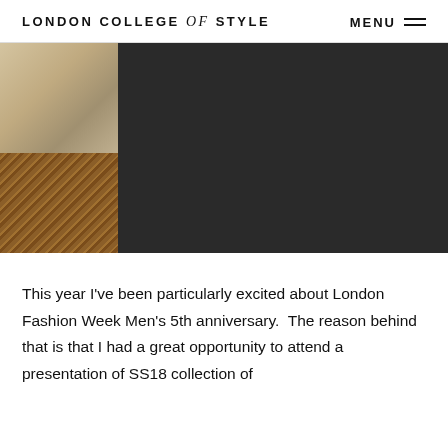LONDON COLLEGE of STYLE   MENU
[Figure (photo): Split image: left side shows a tan/beige interior wall with wicker/rattan basket weave texture at the bottom; right side is a large dark/black area.]
This year I've been particularly excited about London Fashion Week Men's 5th anniversary.  The reason behind that is that I had a great opportunity to attend a presentation of SS18 collection of